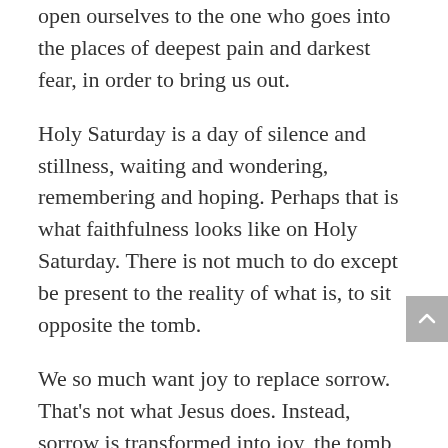open ourselves to the one who goes into the places of deepest pain and darkest fear, in order to bring us out.
Holy Saturday is a day of silence and stillness, waiting and wondering, remembering and hoping. Perhaps that is what faithfulness looks like on Holy Saturday. There is not much to do except be present to the reality of what is, to sit opposite the tomb.
We so much want joy to replace sorrow. That's not what Jesus does. Instead, sorrow is transformed into joy, the tomb